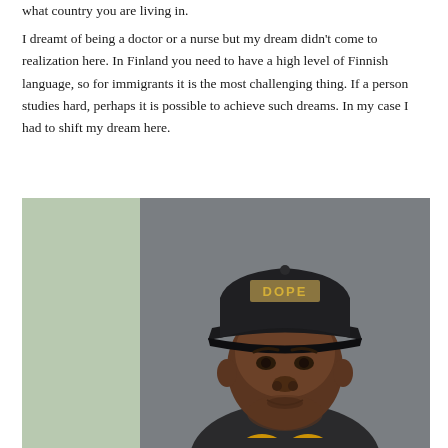what country you are living in.
I dreamt of being a doctor or a nurse but my dream didn't come to realization here. In Finland you need to have a high level of Finnish language, so for immigrants it is the most challenging thing. If a person studies hard, perhaps it is possible to achieve such dreams. In my case I had to shift my dream here.
[Figure (photo): Portrait photo of a man wearing a dark baseball cap with 'DOPE' written in gold letters, looking directly at the camera. He is wearing a dark jacket with yellow accents visible at the collar. The background is split: a light sage/green panel on the left and a grey wall on the right.]